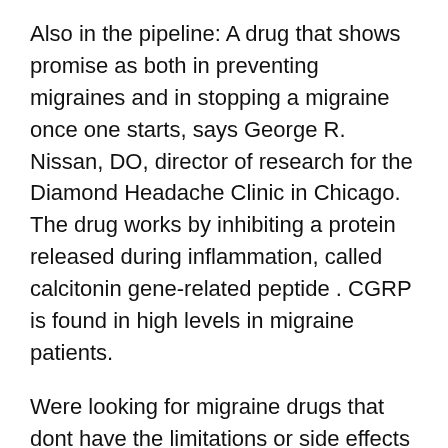Also in the pipeline: A drug that shows promise as both in preventing migraines and in stopping a migraine once one starts, says George R. Nissan, DO, director of research for the Diamond Headache Clinic in Chicago. The drug works by inhibiting a protein released during inflammation, called calcitonin gene-related peptide . CGRP is found in high levels in migraine patients.
Were looking for migraine drugs that dont have the limitations or side effects of antiseizure or blood-pressure-lowering drugs, Nissan tells WebMD. CGRP doesnt cause constriction of blood vessels, so there would be fewer worries for patients with heart disease, and fewer limitations on its use. However, it may take years until we see it FDA-approved.
Stephen Silberstein, MD, professor of neurology and director of the Thomas Jefferson University headache center...